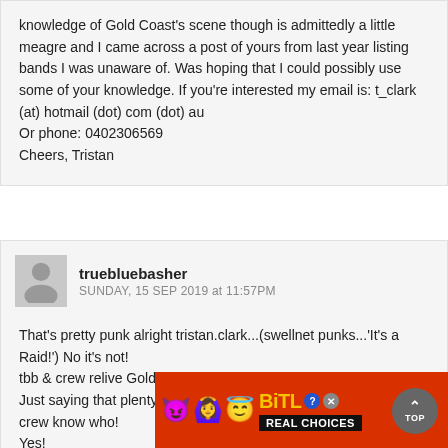knowledge of Gold Coast's scene though is admittedly a little meagre and I came across a post of yours from last year listing bands I was unaware of. Was hoping that I could possibly use some of your knowledge. If you're interested my email is: t_clark (at) hotmail (dot) com (dot) au
Or phone: 0402306569
Cheers, Tristan
truebluebasher
SUNDAY, 15 SEP 2019 at 11:57PM
That's pretty punk alright tristan.clark...(swellnet punks...'It's a Raid!') No it's not!
tbb & crew relive Gold Coast Punk scene often enough.
Just saying that plenty of swellnet punks can help out as much, crew know who!
Yes! also
[Figure (other): BitLife Real Choices advertisement banner with emojis (devil, woman, angel, sperm) on a red background]